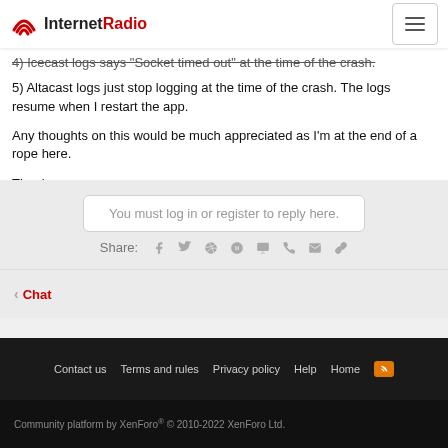InternetRadio
4) Icecast logs says "Socket timed out" at the time of the crash.
5) Altacast logs just stop logging at the time of the crash. The logs resume when I restart the app.
Any thoughts on this would be much appreciated as I'm at the end of a rope here.
Thank you,
- Nav
You must log in or register to reply here.
Share:
Chat
Contact us  Terms and rules  Privacy policy  Help  Home
Community platform by XenForo® © 2010-2022 XenForo Ltd.